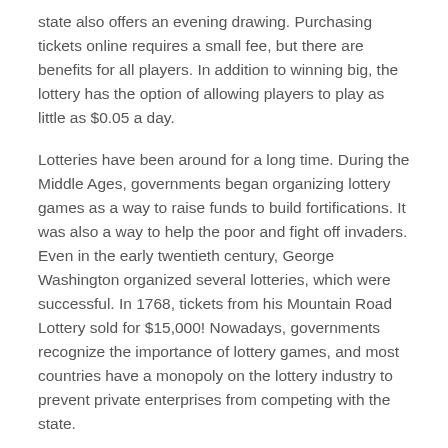state also offers an evening drawing. Purchasing tickets online requires a small fee, but there are benefits for all players. In addition to winning big, the lottery has the option of allowing players to play as little as $0.05 a day.
Lotteries have been around for a long time. During the Middle Ages, governments began organizing lottery games as a way to raise funds to build fortifications. It was also a way to help the poor and fight off invaders. Even in the early twentieth century, George Washington organized several lotteries, which were successful. In 1768, tickets from his Mountain Road Lottery sold for $15,000! Nowadays, governments recognize the importance of lottery games, and most countries have a monopoly on the lottery industry to prevent private enterprises from competing with the state.
If you wish to increase your odds of winning, play the lottery regularly. You'll have a better chance of winning if you buy more tickets than the minimum required to win the jackpot.